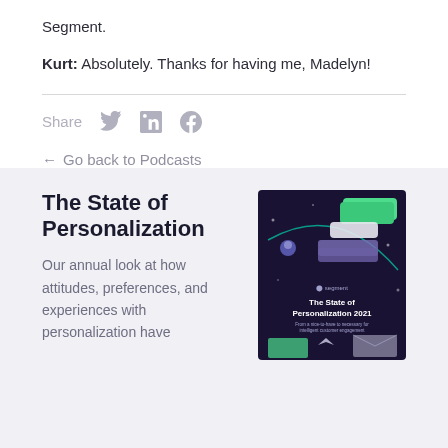Segment.
Kurt: Absolutely. Thanks for having me, Madelyn!
Share
← Go back to Podcasts
The State of Personalization
Our annual look at how attitudes, preferences, and experiences with personalization have
[Figure (illustration): Book cover for 'The State of Personalization 2021' by Segment, dark purple background with floating UI elements, chat bubbles, and icons]